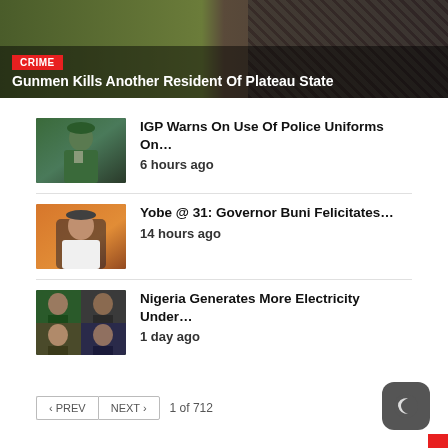[Figure (photo): Hero image split: left side shows green/yellow map or terrain, right side shows stacked rifle ammunition/weapons. CRIME badge overlay and headline text overlaid at bottom.]
Gunmen Kills Another Resident Of Plateau State
[Figure (photo): Thumbnail of a man in military/police green uniform and beret, seated at a desk]
IGP Warns On Use Of Police Uniforms On...
6 hours ago
[Figure (photo): Thumbnail of a man in white traditional attire seated at a desk, orange background]
Yobe @ 31: Governor Buni Felicitates...
14 hours ago
[Figure (photo): Thumbnail collage of multiple Nigerian political figures]
Nigeria Generates More Electricity Under...
1 day ago
< PREV    NEXT >    1 of 712